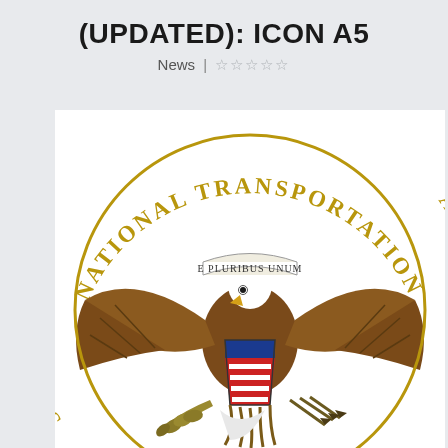(UPDATED): ICON A5
News | ☆☆☆☆☆
[Figure (logo): National Transportation Safety Board (NTSB) official seal showing a bald eagle with spread wings holding an olive branch and arrows, with a shield on its chest displaying the American flag colors (red, white, blue), a banner reading 'E PLURIBUS UNUM' above the eagle, and gold text 'NATIONAL TRANSPORTATION' arcing around the outer ring of the seal.]